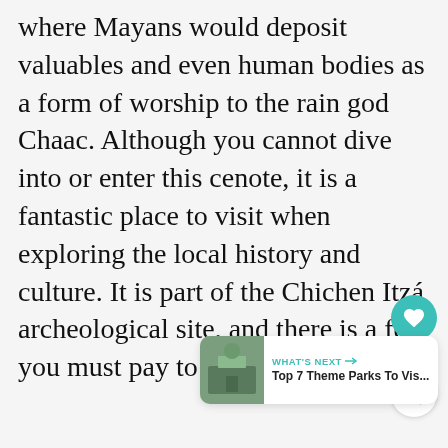where Mayans would deposit valuables and even human bodies as a form of worship to the rain god Chaac. Although you cannot dive into or enter this cenote, it is a fantastic place to visit when exploring the local history and culture. It is part of the Chichen Itzá archeological site, and there is a fee you must pay to visit said site.
[Figure (screenshot): UI elements: heart/like button (teal circle with heart icon), count label showing 564, share button (white circle with share icon)]
[Figure (screenshot): What's Next card with thumbnail image of a theme park, label WHAT'S NEXT with arrow, title Top 7 Theme Parks To Vis...]